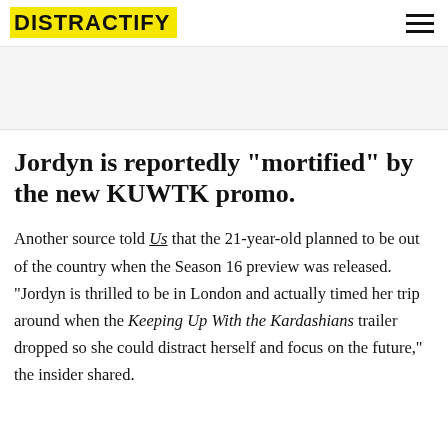DISTRACTIFY
Jordyn is reportedly "mortified" by the new KUWTK promo.
Another source told Us that the 21-year-old planned to be out of the country when the Season 16 preview was released. "Jordyn is thrilled to be in London and actually timed her trip around when the Keeping Up With the Kardashians trailer dropped so she could distract herself and focus on the future," the insider shared.